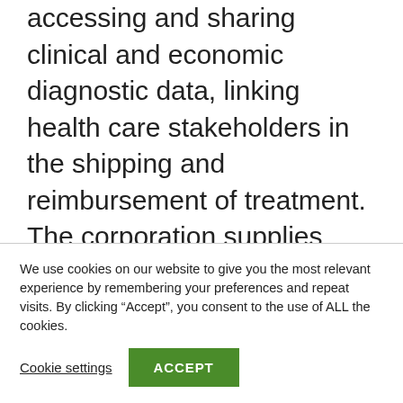accessing and sharing clinical and economic diagnostic data, linking health care stakeholders in the shipping and reimbursement of treatment. The corporation supplies cross-specialty marketplace analytics such as its Lab Quantity Index which presents a measurement of laboratory testing volumes throughout the US. Its synthesis of diagnostic facts allows comparisons of healthcare facility, genetics, pathology, program lab, COVID-19 and antibody tests throughout vital segments. To study a lot more, go to www.XIFIN.com, adhere to
We use cookies on our website to give you the most relevant experience by remembering your preferences and repeat visits. By clicking “Accept”, you consent to the use of ALL the cookies.
Cookie settings
ACCEPT